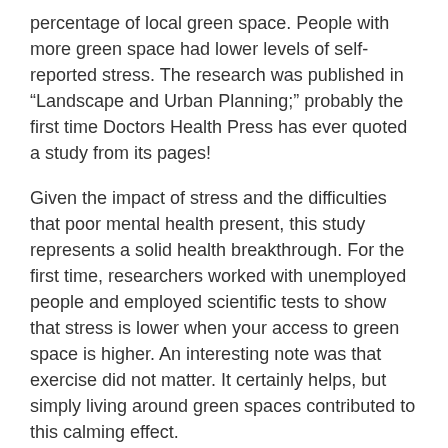percentage of local green space. People with more green space had lower levels of self-reported stress. The research was published in “Landscape and Urban Planning;” probably the first time Doctors Health Press has ever quoted a study from its pages!
Given the impact of stress and the difficulties that poor mental health present, this study represents a solid health breakthrough. For the first time, researchers worked with unemployed people and employed scientific tests to show that stress is lower when your access to green space is higher. An interesting note was that exercise did not matter. It certainly helps, but simply living around green spaces contributed to this calming effect.
Share: